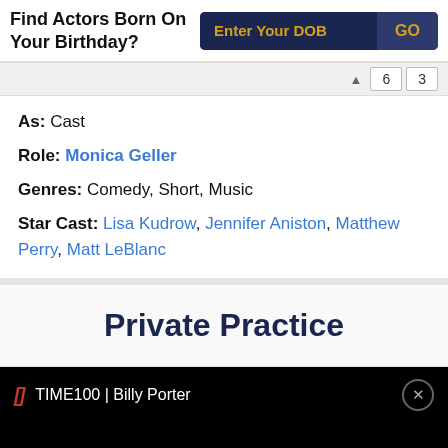Find Actors Born On Your Birthday?
As: Cast
Role: Monica Geller
Genres: Comedy, Short, Music
Star Cast: Lisa Kudrow, Jennifer Aniston, Matthew Perry, Matt LeBlanc
Private Practice
TIME100 | Billy Porter